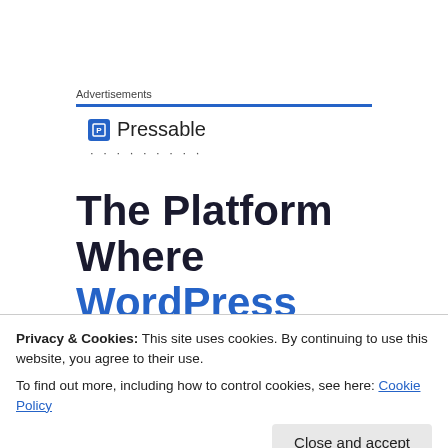Advertisements
[Figure (logo): Pressable logo with blue icon and dots below]
The Platform Where WordPress Works Best
Adrenaline is a very good remedy for hunger pangs and physical
Privacy & Cookies: This site uses cookies. By continuing to use this website, you agree to their use.
To find out more, including how to control cookies, see here: Cookie Policy
Close and accept